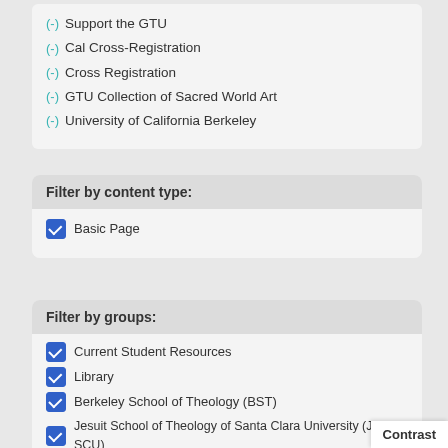(-) Support the GTU
(-) Cal Cross-Registration
(-) Cross Registration
(-) GTU Collection of Sacred World Art
(-) University of California Berkeley
Filter by content type:
✓ Basic Page
Filter by groups:
✓ Current Student Resources
✓ Library
✓ Berkeley School of Theology (BST)
✓ Jesuit School of Theology of Santa Clara University (JST-SCU)
✓ Support the GTU
About the GTU (1)
Contrast